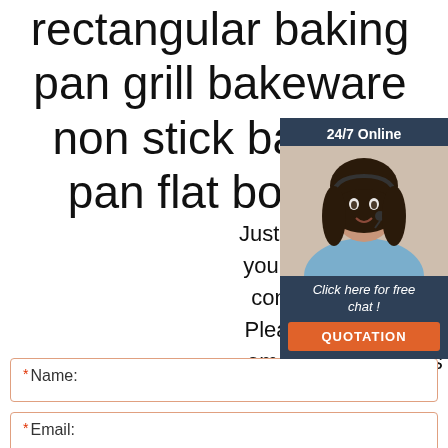rectangular baking pan grill bakeware non stick bakeware pan flat bottom
[Figure (infographic): 24/7 Online chat widget with photo of smiling woman with headset, 'Click here for free chat!' text, and orange QUOTATION button]
Just fill in the form below, click submit, you will get the price list, and we will contact you within one working day. Please also feel free to contact us via email or phone. (* is required).
* Name:
* Email: